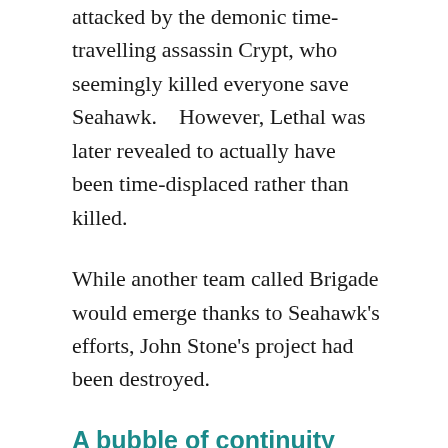attacked by the demonic time-travelling assassin Crypt, who seemingly killed everyone save Seahawk.    However, Lethal was later revealed to actually have been time-displaced rather than killed.
While another team called Brigade would emerge thanks to Seahawk's efforts, John Stone's project had been destroyed.
A bubble of continuity chaos
What happened to Battlestone after his capture by I.O. director Miles Craven is unclear.    Especially since, at that point, the